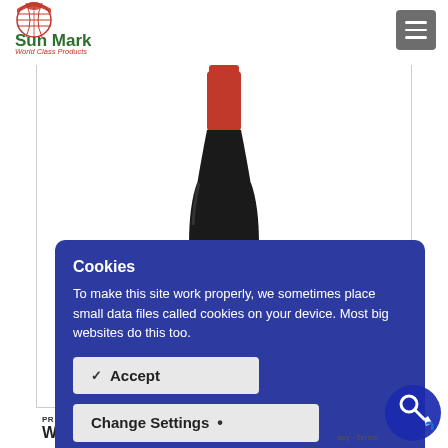[Figure (logo): Sun Mark World Class Products logo with red globe icon and green text]
[Figure (screenshot): Hamburger menu button (three horizontal lines on grey background)]
[Figure (photo): Red wine bottle (Merlot) with red foil top, showing upper portion of bottle on white background]
Cookies
To make this site work properly, we sometimes place small data files called cookies on your device. Most big websites do this too.
Accept
Change Settings
PR
Wine Red Merlot
[Figure (illustration): Blue chat widget icon with magnifying glass / person icon]
acy · Terms